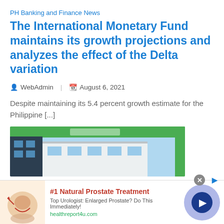PH Banking and Finance News
The International Monetary Fund maintains its growth projections and analyzes the effect of the Delta variation
WebAdmin  |  August 6, 2021
Despite maintaining its 5.4 percent growth estimate for the Philippine [...]
[Figure (photo): Article image showing a building with green and blue elements]
We use cookies on our website to give you the most relevant experience by remembering your preferences and repeat visits. By clicking “Accept”, you consent to the use
[Figure (infographic): Advertisement: #1 Natural Prostate Treatment. Top Urologist: Enlarged Prostate? Do This Immediately! healthreport4u.com]